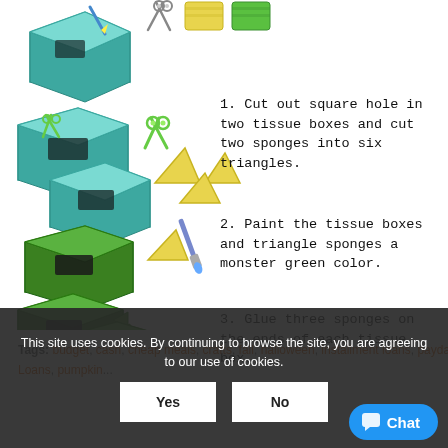[Figure (illustration): Step-by-step craft instructions showing tissue boxes, scissors, sponge triangles, and painted green monster boxes with triangle teeth at various stages of assembly.]
1. Cut out square hole in two tissue boxes and cut two sponges into six triangles.
2. Paint the tissue boxes and triangle sponges a monster green color.
3. Glue three sponges on the ends of each tissue box.
Tags: budget, cash, cheap meals, crafts, fall, halloween, installment loans, payday loans, pumpkin...
This site uses cookies. By continuing to browse the site, you are agreeing to our use of cookies.